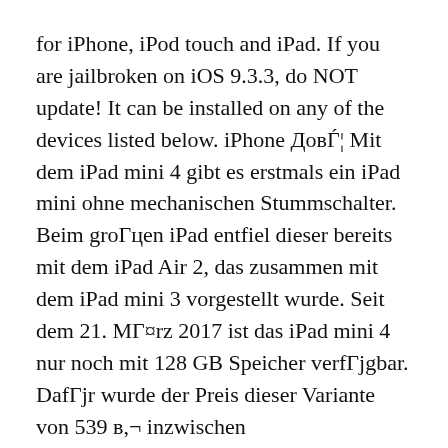for iPhone, iPod touch and iPad. If you are jailbroken on iOS 9.3.3, do NOT update! It can be installed on any of the devices listed below. iPhone ДовЃ¦ Mit dem iPad mini 4 gibt es erstmals ein iPad mini ohne mechanischen Stummschalter. Beim groГцen iPad entfiel dieser bereits mit dem iPad Air 2, das zusammen mit dem iPad mini 3 vorgestellt wurde. Seit dem 21. МГ¤rz 2017 ist das iPad mini 4 nur noch mit 128 GB Speicher verfГјgbar. DafГјr wurde der Preis dieser Variante von 539 в,¬ inzwischen
Slightly thicker and heavier than the previous generation of iPad Mini, the iPad Mini 2 (iPad mini Retina) shares many of the iPad Air's specifications. The iPad mini 2 Wi-Fi can be